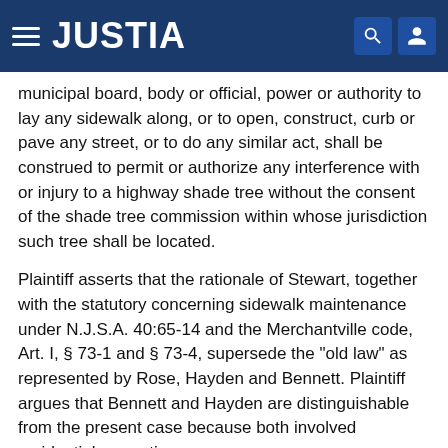JUSTIA
municipal board, body or official, power or authority to lay any sidewalk along, or to open, construct, curb or pave any street, or to do any similar act, shall be construed to permit or authorize any interference with or injury to a highway shade tree without the consent of the shade tree commission within whose jurisdiction such tree shall be located.
Plaintiff asserts that the rationale of Stewart, together with the statutory concerning sidewalk maintenance under N.J.S.A. 40:65-14 and the Merchantville code, Art. I, § 73-1 and § 73-4, supersede the "old law" as represented by Rose, Hayden and Bennett. Plaintiff argues that Bennett and Hayden are distinguishable from the present case because both involved residential properties.
Although that statement is true, the Shade Tree